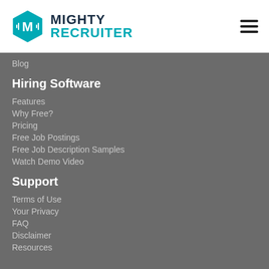[Figure (logo): MightyRecruiter logo with hexagon icon and text]
Blog
Hiring Software
Features
Why Free?
Pricing
Free Job Postings
Free Job Description Samples
Watch Demo Video
Support
Terms of Use
Your Privacy
FAQ
Disclaimer
Resources